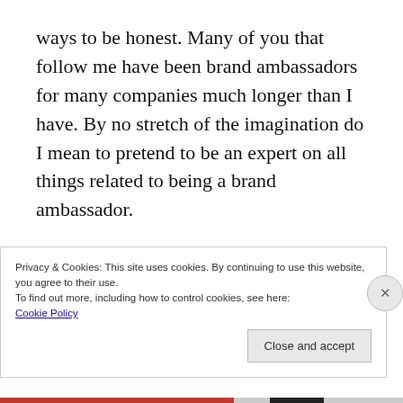ways to be honest. Many of you that follow me have been brand ambassadors for many companies much longer than I have. By no stretch of the imagination do I mean to pretend to be an expert on all things related to being a brand ambassador.

What I would like is to tell my story and what I've experienced as a brand ambassador because not everyone knows about being a
Privacy & Cookies: This site uses cookies. By continuing to use this website, you agree to their use.
To find out more, including how to control cookies, see here:
Cookie Policy